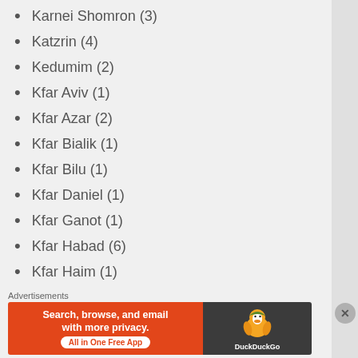Karnei Shomron (3)
Katzrin (4)
Kedumim (2)
Kfar Aviv (1)
Kfar Azar (2)
Kfar Bialik (1)
Kfar Bilu (1)
Kfar Daniel (1)
Kfar Ganot (1)
Kfar Habad (6)
Kfar Haim (1)
Kfar Hanagid (1)
Kfar Hanassi (1)
Kfar HaRif (1)
Kfar Haroeh (1)
Advertisements
[Figure (screenshot): DuckDuckGo advertisement banner: 'Search, browse, and email with more privacy. All in One Free App' with DuckDuckGo logo on dark background]